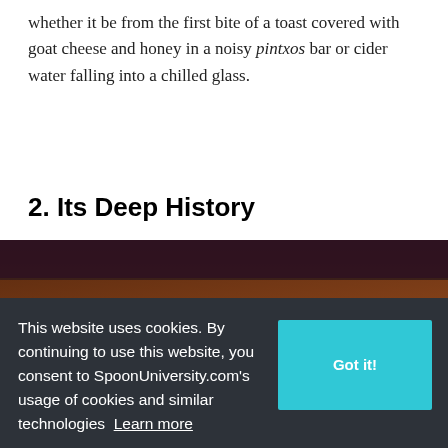whether it be from the first bite of a toast covered with goat cheese and honey in a noisy pintxos bar or cider water falling into a chilled glass.
2. Its Deep History
[Figure (photo): Blurred close-up photo of a wooden surface, brown tones, with a white object partially visible in bottom-right corner.]
[Figure (screenshot): Advertisement banner for Velocity Global: Guide to International PEO, with a Download button.]
This website uses cookies. By continuing to use this website, you consent to SpoonUniversity.com's usage of cookies and similar technologies Learn more
[Figure (photo): Partial photo showing red and white striped pattern, visible in bottom-right, behind the cookie consent bar.]